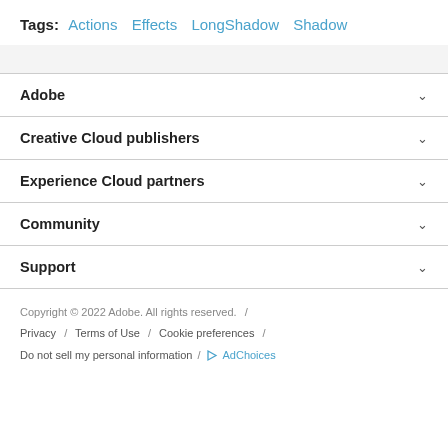Tags: Actions  Effects  LongShadow  Shadow
Adobe
Creative Cloud publishers
Experience Cloud partners
Community
Support
Copyright © 2022 Adobe. All rights reserved.  /  Privacy  /  Terms of Use  /  Cookie preferences  /  Do not sell my personal information  /  AdChoices